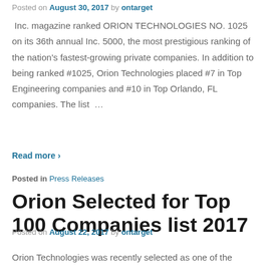Posted on August 30, 2017 by ontarget
Inc. magazine ranked ORION TECHNOLOGIES NO. 1025 on its 36th annual Inc. 5000, the most prestigious ranking of the nation's fastest-growing private companies. In addition to being ranked #1025, Orion Technologies placed #7 in Top Engineering companies and #10 in Top Orlando, FL companies. The list …
Read more ›
Posted in Press Releases
Orion Selected for Top 100 Companies list 2017
Posted on August 22, 2017 by ontarget
Orion Technologies was recently selected as one of the